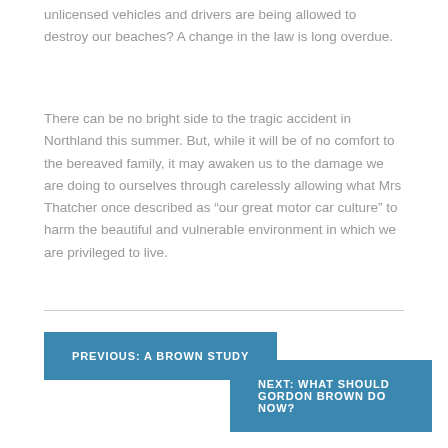unlicensed vehicles and drivers are being allowed to destroy our beaches? A change in the law is long overdue.
There can be no bright side to the tragic accident in Northland this summer. But, while it will be of no comfort to the bereaved family, it may awaken us to the damage we are doing to ourselves through carelessly allowing what Mrs Thatcher once described as “our great motor car culture” to harm the beautiful and vulnerable environment in which we are privileged to live.
PREVIOUS: A BROWN STUDY
NEXT: WHAT SHOULD GORDON BROWN DO NOW?